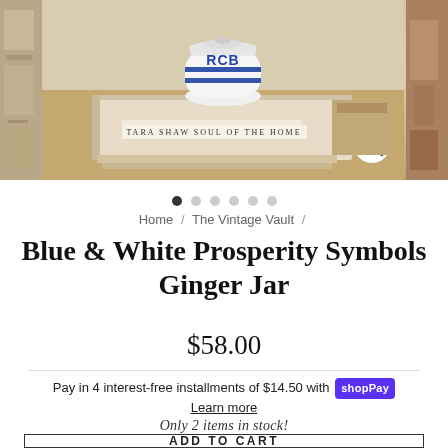[Figure (photo): Product image carousel showing a decorative blue and white ginger jar on a coffee table book with 'Tara Shaw Soul of the Home' text visible, with search icon overlay. Left and right partial images visible.]
Home / The Vintage Vault /
Blue & White Prosperity Symbols Ginger Jar
$58.00
Pay in 4 interest-free installments of $14.50 with shop Pay
Learn more
Only 2 items in stock!
ADD TO CART